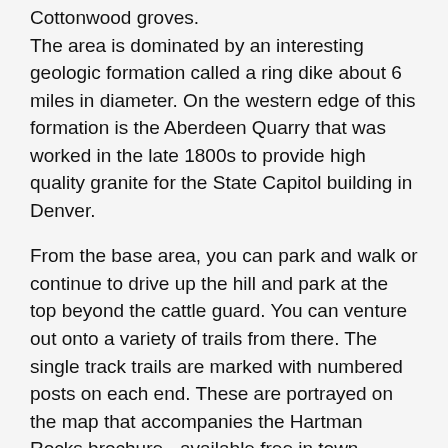Cottonwood groves. The area is dominated by an interesting geologic formation called a ring dike about 6 miles in diameter. On the western edge of this formation is the Aberdeen Quarry that was worked in the late 1800s to provide high quality granite for the State Capitol building in Denver.
From the base area, you can park and walk or continue to drive up the hill and park at the top beyond the cattle guard. You can venture out onto a variety of trails from there. The single track trails are marked with numbered posts on each end. These are portrayed on the map that accompanies the Hartman Rocks brochure - available free in town.
Details